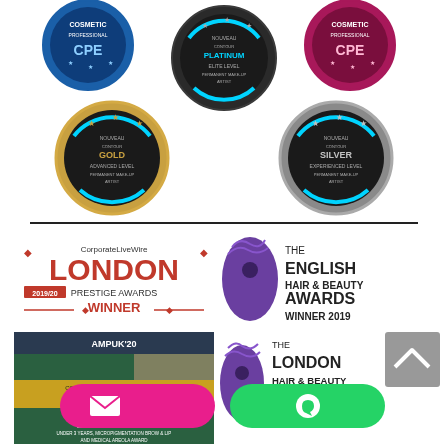[Figure (logo): Five Nouveau Contour certification badges: two blue/pink 'Cosmetic Professionals' circular badges at top left and top right, one platinum elite level permanent make-up artist badge (center top), one gold advanced level permanent make-up artist badge (center left), and one silver experienced level permanent make-up artist badge (center right)]
[Figure (logo): CorporateLiveWire London 2019/20 Prestige Awards Winner logo in red and dark colors]
[Figure (logo): The English Hair & Beauty Awards Winner 2019 logo with purple silhouette graphic]
[Figure (logo): AMPUK 2020 Finalist banner with congratulations text and woman's face photo]
[Figure (logo): The London Hair & Beauty Awards Winner 2019 logo with purple silhouette graphic]
[Figure (other): Grey back-to-top arrow button]
[Figure (other): Pink email contact button and green WhatsApp contact button at bottom of page]